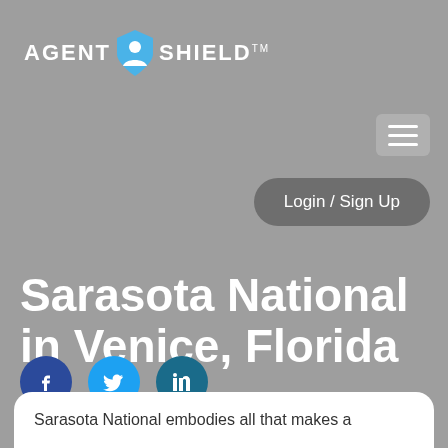AGENT SHIELD™
[Figure (logo): Agent Shield logo with shield icon containing a person silhouette, white text on grey background]
[Figure (other): Hamburger menu icon (three horizontal lines) in a rounded grey box]
Login / Sign Up
Sarasota National in Venice, Florida
[Figure (other): Social media share buttons: Facebook (dark blue), Twitter (light blue), LinkedIn (teal)]
Sarasota National embodies all that makes a